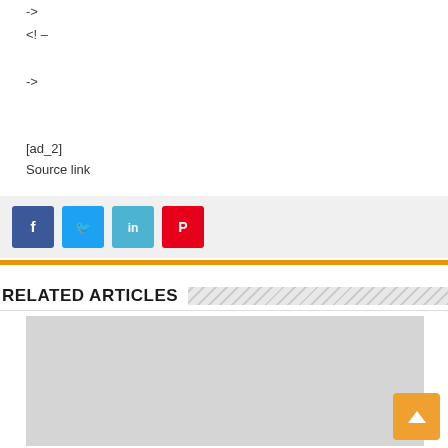->
<! –
->
[ad_2]
Source link
[Figure (other): Social share buttons: Facebook (dark blue), Twitter (light blue), LinkedIn (teal), Pinterest (red)]
RELATED ARTICLES
[Figure (photo): Gray placeholder image for a related article]